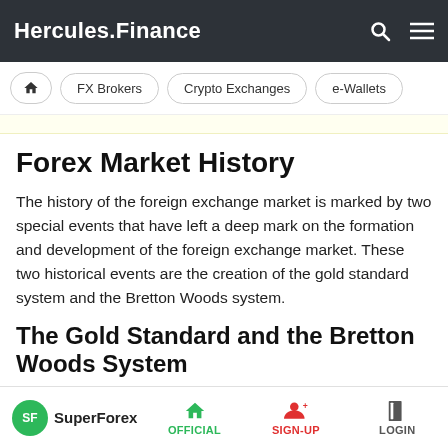Hercules.Finance
FX Brokers | Crypto Exchanges | e-Wallets
Forex Market History
The history of the foreign exchange market is marked by two special events that have left a deep mark on the formation and development of the foreign exchange market. These two historical events are the creation of the gold standard system and the Bretton Woods system.
The Gold Standard and the Bretton Woods System
The Gold Standard System was established in 1875. The
SuperForex | OFFICIAL | SIGN-UP | LOGIN